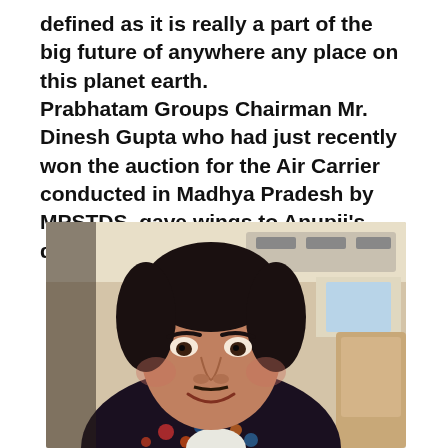…defined as it is really a part of the big future of anywhere any place on this planet earth.
Prabhatam Groups Chairman Mr. Dinesh Gupta who had just recently won the auction for the Air Carrier conducted in Madhya Pradesh by MPSTDS, gave wings to Anupji's dream.
[Figure (photo): A man smiling inside an aircraft cabin, wearing a floral-patterned jacket, seated in what appears to be a private jet with beige leather seats visible in the background.]